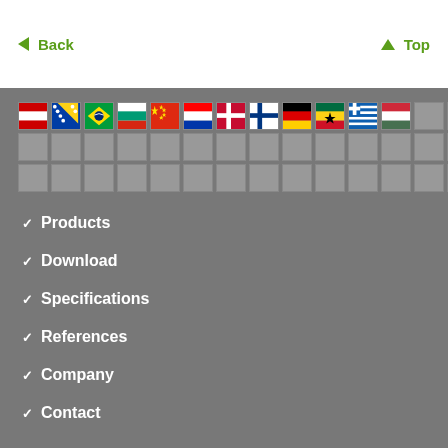← Back
↑ Top
[Figure (other): Grid of country flag icons (3 rows x 14 columns). Top row shows flags for Austria, Bosnia, Brazil, Bulgaria, China, Croatia, Denmark, Finland, Germany, Ghana, Greece, Hungary, and more empty cells. Second and third rows are mostly empty gray placeholder cells.]
Products
Download
Specifications
References
Company
Contact